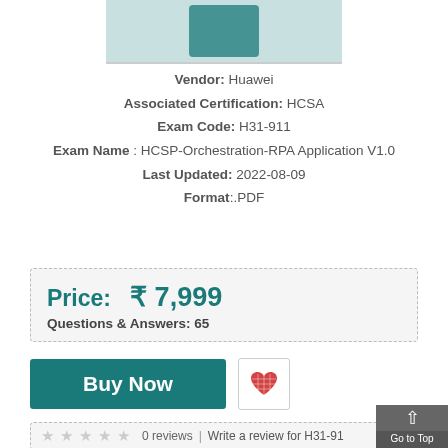[Figure (photo): Product image of a Huawei exam study guide book with teal/green cover, partially cropped at top]
Vendor: Huawei
Associated Certification: HCSA
Exam Code: H31-911
Exam Name : HCSP-Orchestration-RPA Application V1.0
Last Updated: 2022-08-09
Format:.PDF
Price: ₹ 7,999
Questions & Answers: 65
Buy Now
0 reviews  |  Write a review for H31-911